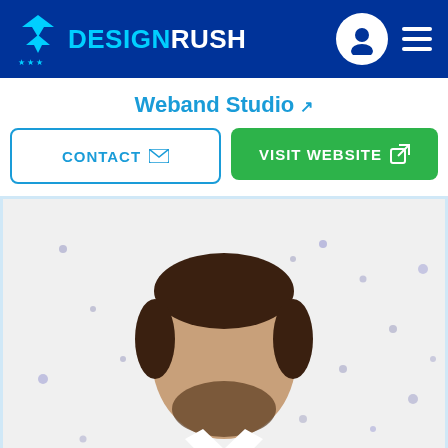DesignRush
Weband Studio
CONTACT | VISIT WEBSITE
[Figure (photo): Profile photo of a young man with beard, wearing a white polo shirt with arms crossed, standing in front of a white background with scattered blue/purple dots pattern]